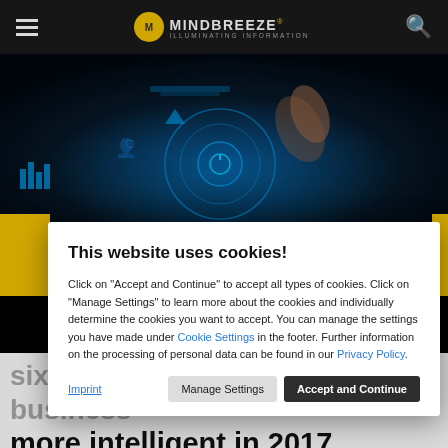MINDBREEZE — ILLUMINATING INFORMATION
[Figure (photo): Hero image showing a person touching a glowing digital interface with tech UI elements on a dark blue background]
This website uses cookies!
Click on "Accept and Continue" to accept all types of cookies. Click on "Manage Settings" to learn more about the cookies and individually determine the cookies you want to accept. You can manage the settings you have made under Cookie Settings in the footer. Further information on the processing of personal data can be found in our Privacy Policy.
six trends that will make business more intelligent in 2017